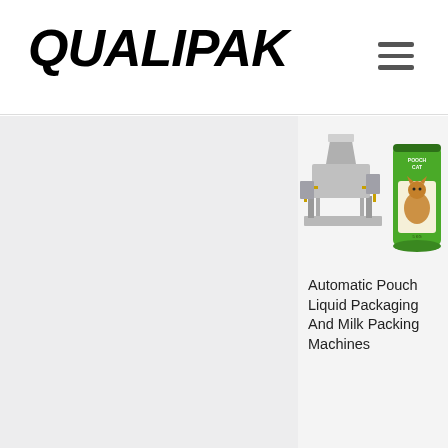QUALIPAK
[Figure (photo): Product photo showing an industrial automatic pouch liquid packaging machine (large grey industrial equipment with yellow platform/railing) alongside a green pet food bag with a cat image]
Automatic Pouch Liquid Packaging And Milk Packing Machines